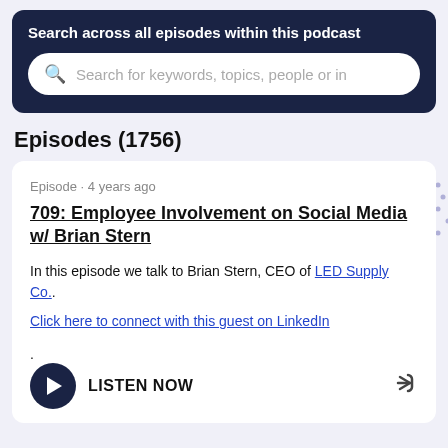Search across all episodes within this podcast
Search for keywords, topics, people or in
Episodes (1756)
Episode · 4 years ago
709: Employee Involvement on Social Media w/ Brian Stern
In this episode we talk to Brian Stern, CEO of LED Supply Co..
Click here to connect with this guest on LinkedIn.
LISTEN NOW